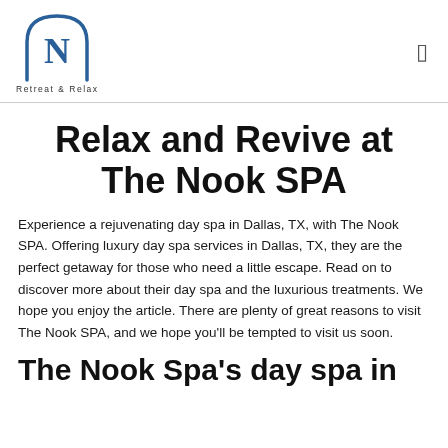[Figure (logo): The Nook SPA logo: an arch outline containing the letter N in blue, with tagline 'Retreat & Relax' below]
Relax and Revive at The Nook SPA
Experience a rejuvenating day spa in Dallas, TX, with The Nook SPA. Offering luxury day spa services in Dallas, TX, they are the perfect getaway for those who need a little escape. Read on to discover more about their day spa and the luxurious treatments. We hope you enjoy the article. There are plenty of great reasons to visit The Nook SPA, and we hope you'll be tempted to visit us soon.
The Nook Spa's day spa in